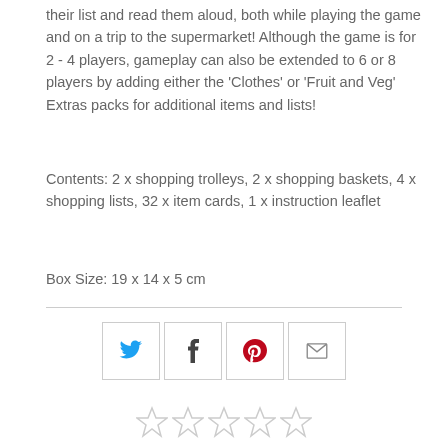their list and read them aloud, both while playing the game and on a trip to the supermarket! Although the game is for 2 - 4 players, gameplay can also be extended to 6 or 8 players by adding either the 'Clothes' or 'Fruit and Veg' Extras packs for additional items and lists!
Contents: 2 x shopping trolleys, 2 x shopping baskets, 4 x shopping lists, 32 x item cards, 1 x instruction leaflet
Box Size: 19 x 14 x 5 cm
[Figure (other): Social sharing icons: Twitter (blue bird), Facebook (f), Pinterest (P), Email (envelope)]
[Figure (other): Five empty star rating icons]